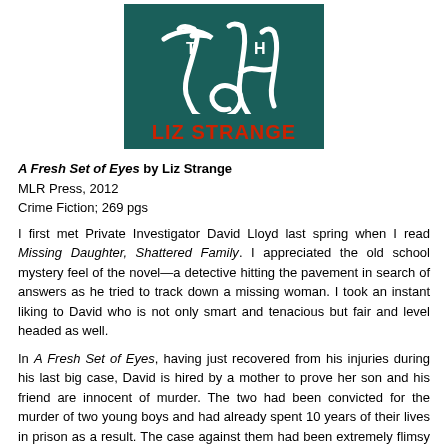[Figure (illustration): Book cover for 'A Fresh Set of Eyes' by Liz Strange. Dark teal/green background with white rope/cord forming letters 'T' and 'H', and the author name 'LIZ STRANGE' in bold red text at the bottom.]
A Fresh Set of Eyes by Liz Strange
MLR Press, 2012
Crime Fiction; 269 pgs
I first met Private Investigator David Lloyd last spring when I read Missing Daughter, Shattered Family.  I appreciated the old school mystery feel of the novel—a detective hitting the pavement in search of answers as he tried to track down a missing woman.  I took an instant liking to David who is not only smart and tenacious but fair and level headed as well.
In A Fresh Set of Eyes, having just recovered from his injuries during his last big case, David is hired by a mother to prove her son and his friend are innocent of murder.  The two had been convicted for the murder of two young boys and had already spent 10 years of their lives in prison as a result.  The case against them had been extremely flimsy from the get go, but anxiety and fear to put someone behind bars rushed the trial and got a conviction.  David has very little to go on initially, but he believes in